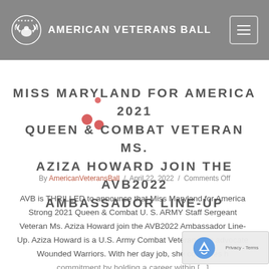AMERICAN VETERANS BALL
MISS MARYLAND FOR AMERICA 2021 QUEEN & COMBAT VETERAN MS. AZIZA HOWARD JOIN THE AVB2022 AMBASSADOR LINE-UP
By AmericanVeteransBall / April 22, 2022 / Comments Off
AVB is THRILLED to announce that Miss Maryland for America Strong 2021 Queen & Combat U. S. ARMY Staff Sergeant Veteran Ms. Aziza Howard join the AVB2022 Ambassador Line-Up. Aziza Howard is a U.S. Army Combat Veteran who advocates for Wounded Warriors. With her day job, she continues her commitment by holding a career within [...]